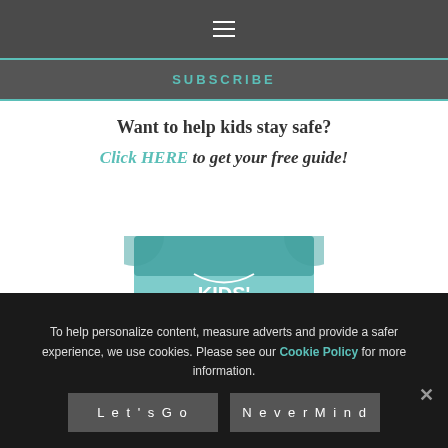☰
SUBSCRIBE
Want to help kids stay safe?
Click HERE to get your free guide!
[Figure (illustration): Kids' Personal Safety guide book cover with teal/green design and white text reading KIDS' PERSONAL...]
To help personalize content, measure adverts and provide a safer experience, we use cookies. Please see our Cookie Policy for more information.
Let's Go
Never Mind